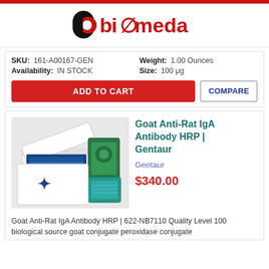[Figure (logo): Biomeda logo with stylized 'b' icon and red/black 'biomeda' text]
SKU: 161-A00167-GEN  Weight: 1.00 Ounces
Availability: IN STOCK  Size: 100 μg
ADD TO CART
COMPARE
Goat Anti-Rat IgA Antibody HRP | Gentaur
Gentaur
$340.00
[Figure (photo): Product image showing white boxes and small blue vials from Gentaur antibody kit]
Goat Anti-Rat IgA Antibody HRP | 622-NB7110 Quality Level 100 biological source goat conjugate peroxidase conjugate